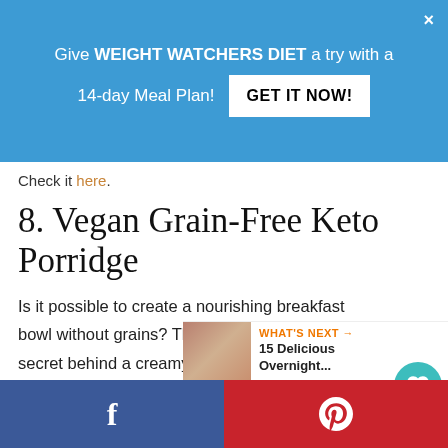[Figure (screenshot): Blue promotional banner: 'Give WEIGHT WATCHERS DIET a try with a 14-day Meal Plan! GET IT NOW!' with close X button]
Check it here.
8. Vegan Grain-Free Keto Porridge
Is it possible to create a nourishing breakfast bowl without grains? The answer is YES and the secret behind a creamy keto porridge is a well-balanced mix of seeds. On top of that this is vegan too! click the link for more great vegan keto breakfast ideas.
[Figure (infographic): WHAT'S NEXT arrow label with thumbnail and text '15 Delicious Overnight...']
Facebook share button | Pinterest share button